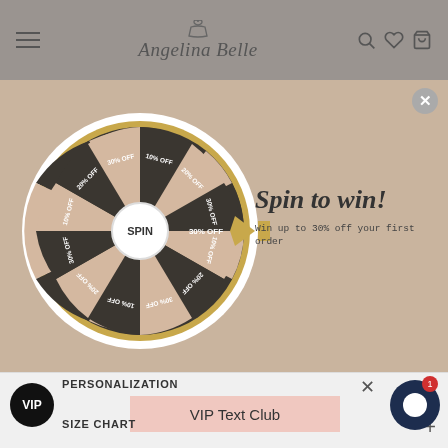Angelina Belle - navigation bar with hamburger menu, logo, search, wishlist, and cart icons
[Figure (other): Spin-to-win prize wheel with alternating dark and light segments labeled 10% OFF, 20% OFF, 30% OFF. Center button reads SPIN. A gold arrow pointer points to '30% OFF' segment.]
Spin to win!
Win up to 30% off your first order
PERSONALIZATION
VIP
VIP Text Club
SIZE CHART